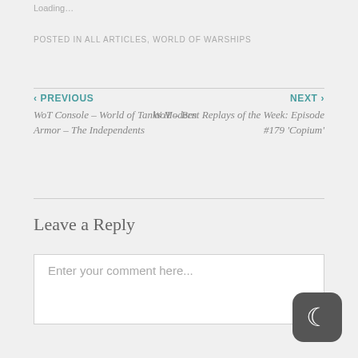Loading…
POSTED IN ALL ARTICLES, WORLD OF WARSHIPS
‹ PREVIOUS
WoT Console – World of Tanks Modern Armor – The Independents
NEXT ›
WoT – Best Replays of the Week: Episode #179 'Copium'
Leave a Reply
Enter your comment here...